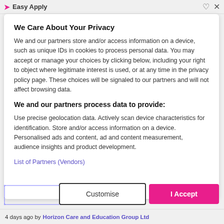Easy Apply
We Care About Your Privacy
We and our partners store and/or access information on a device, such as unique IDs in cookies to process personal data. You may accept or manage your choices by clicking below, including your right to object where legitimate interest is used, or at any time in the privacy policy page. These choices will be signaled to our partners and will not affect browsing data.
We and our partners process data to provide:
Use precise geolocation data. Actively scan device characteristics for identification. Store and/or access information on a device. Personalised ads and content, ad and content measurement, audience insights and product development.
List of Partners (Vendors)
4 days ago by Horizon Care and Education Group Ltd